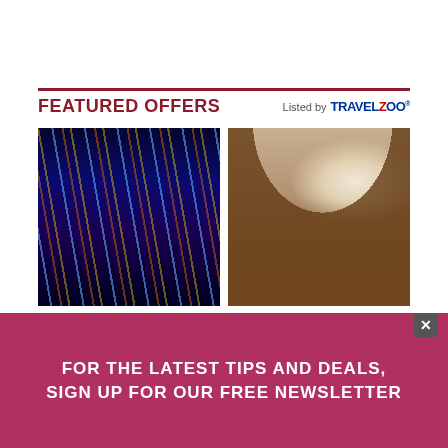FEATURED OFFERS
Listed by TRAVELZOO
[Figure (photo): Vegas strip at night with colorful neon light installations]
[Figure (photo): Woman in red sari viewed through a stone arch with Taj Mahal in background]
Up to 40% Off - Vegas: Exclusive Savings for Resorts on the Strip
HotelPlanner
$2545* & up - Fly Business Class to India
SkyLux Travel
*Some taxes, fees additional
FOR THE LATEST TIPS AND DEALS, SIGN UP FOR OUR FREE NEWSLETTER